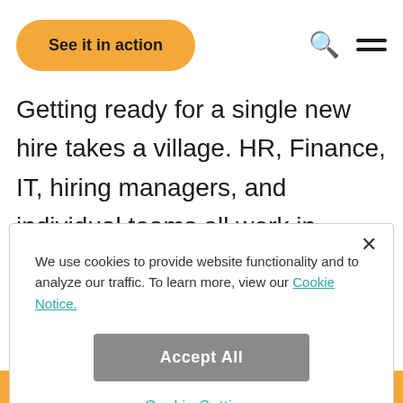[Figure (screenshot): Website header with orange rounded 'See it in action' button, search icon, and hamburger menu icon]
Getting ready for a single new hire takes a village. HR, Finance, IT, hiring managers, and individual teams all work in concert to make sure tasks get assigned and accomplished before new hires arrive. With so many
[Figure (screenshot): Cookie consent modal dialog with close X button, cookie notice text with 'Cookie Notice.' link, 'Accept All' gray button, and 'Cookie Settings' teal link]